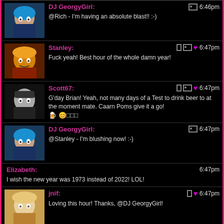DJ GeorgyGirl: @Rich - I'm having an absolute blast!! :-) 6:46pm
Stanley: Fuck yeah! Best hour of the whole damn year! 6:47pm
Scott67: G'day Brian! Yeah, not many days of a Test to drink beer to at the moment mate. Caarn Poms give it a go! 6:47pm
DJ GeorgyGirl: @Stanley - I'm blushing now! :-) 6:47pm
Elizabeth: I wish the new year was 1973 instead of 2022! LOL! 6:47pm
jnif: Loving this hour! Thanks, @DJ GeorgyGirl! 6:47pm
DJ GeorgyGirl: @Elizabeth - same! :-) 6:48pm